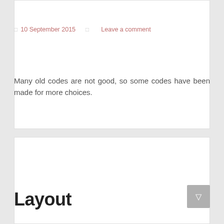10 September 2015  Leave a comment
Many old codes are not good, so some codes have been made for more choices.
Layout